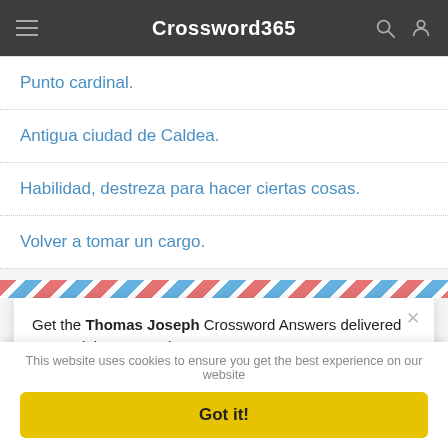Crossword365
Punto cardinal.
Antigua ciudad de Caldea.
Habilidad, destreza para hacer ciertas cosas.
Volver a tomar un cargo.
[Figure (screenshot): Email subscription popup with airmail-style border, text 'Get the Thomas Joseph Crossword Answers delivered to your inbox every day!', email input field, and send button]
Get the Thomas Joseph Crossword Answers delivered to your inbox every day!
Your E-Mail Address
This website uses cookies to ensure you get the best experience on our website
Got it!